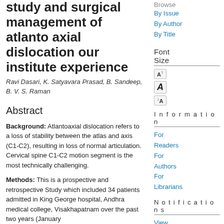study and surgical management of atlanto axial dislocation our institute experience
Ravi Dasari, K. Satyavara Prasad, B. Sandeep, B. V. S. Raman
Abstract
Background: Atlantoaxial dislocation refers to a loss of stability between the atlas and axis (C1-C2), resulting in loss of normal articulation. Cervical spine C1-C2 motion segment is the most technically challenging.
Methods: This is a prospective and retrospective Study which included 34 patients admitted in King George hospital, Andhra medical college, Visakhapatnam over the past two years (January
Browse
By Issue
By Author
By Title
Font Size
Information
For Readers
For Authors
For Librarians
Notifications
View